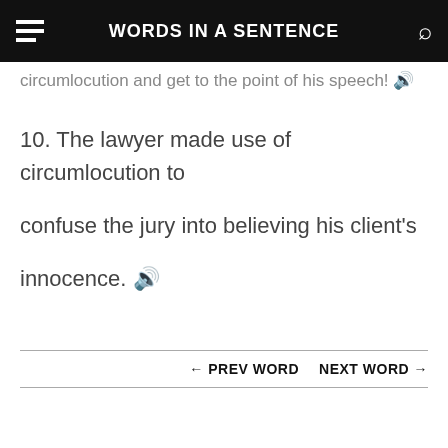WORDS IN A SENTENCE
circumlocution and get to the point of his speech! 🔊
10. The lawyer made use of circumlocution to confuse the jury into believing his client's innocence. 🔊
← PREV WORD   NEXT WORD →